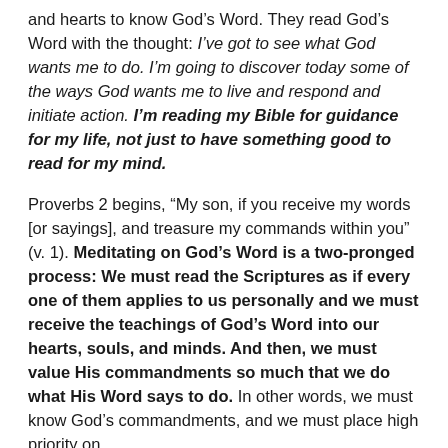and hearts to know God's Word. They read God's Word with the thought: I've got to see what God wants me to do. I'm going to discover today some of the ways God wants me to live and respond and initiate action. I'm reading my Bible for guidance for my life, not just to have something good to read for my mind.
Proverbs 2 begins, “My son, if you receive my words [or sayings], and treasure my commands within you” (v. 1). Meditating on God’s Word is a two-pronged process: We must read the Scriptures as if every one of them applies to us personally and we must receive the teachings of God’s Word into our hearts, souls, and minds. And then, we must value His commandments so much that we do what His Word says to do. In other words, we must know God’s commandments, and we must place high priority on